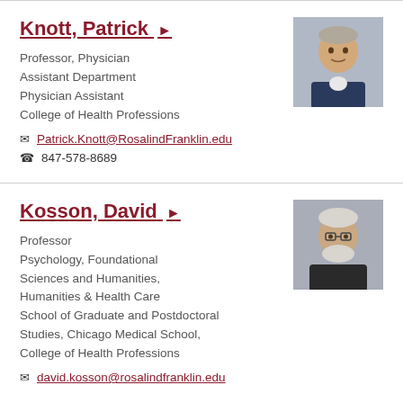Knott, Patrick ▶
Professor, Physician Assistant Department
Physician Assistant
College of Health Professions
Patrick.Knott@RosalindFranklin.edu
847-578-8689
[Figure (photo): Headshot of Patrick Knott, a man with grey hair wearing a dark blazer, smiling.]
Kosson, David ▶
Professor
Psychology, Foundational Sciences and Humanities, Humanities & Health Care School of Graduate and Postdoctoral Studies, Chicago Medical School, College of Health Professions
david.kosson@rosalindfranklin.edu
[Figure (photo): Headshot of David Kosson, an older man with white hair and beard wearing glasses and a dark jacket.]